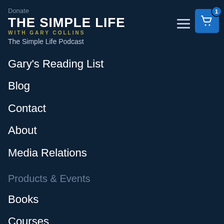Donate
THE SIMPLE LIFE
WITH GARY COLLINS
The Simple Life Podcast
Gary's Reading List
Blog
Contact
About
Media Relations
Products & Events
Books
Courses
House Construction Plans
Supplements
Shopping Cart
Speaking Events